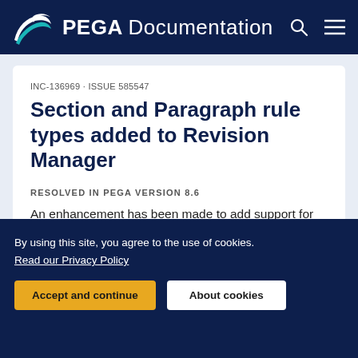PEGA Documentation
INC-136969 · ISSUE 585547
Section and Paragraph rule types added to Revision Manager
RESOLVED IN PEGA VERSION 8.6
An enhancement has been made to add support for section and paragraph rule types in revision
[Figure (infographic): READY TO CRUSH COMPLEXITY? promotional banner with teal gradient background and close (x) button]
By using this site, you agree to the use of cookies. Read our Privacy Policy
Accept and continue    About cookies